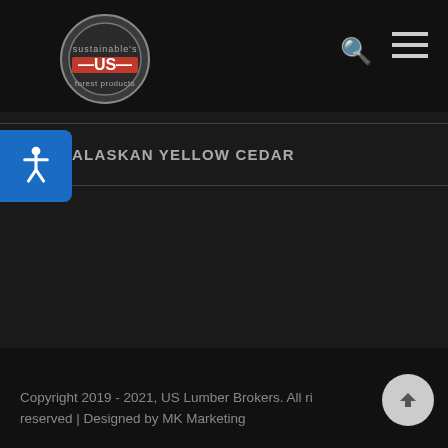US Lumber Brokers - Header navigation bar with logo, search, and menu
HEMLOCK
SOUTHERN YELLOW PINE
ALASKAN YELLOW CEDAR
Copyright 2019 - 2021, US Lumber Brokers. All rights reserved | Designed by MK Marketing